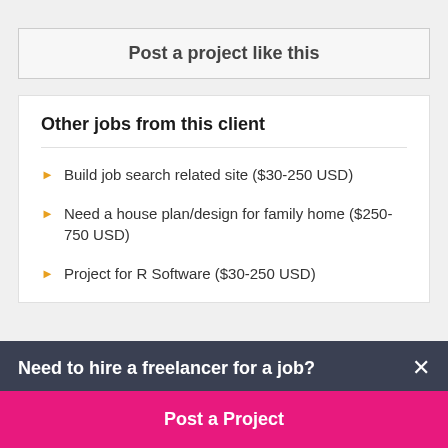Post a project like this
Other jobs from this client
Build job search related site ($30-250 USD)
Need a house plan/design for family home ($250-750 USD)
Project for R Software ($30-250 USD)
Need to hire a freelancer for a job?
Post a Project